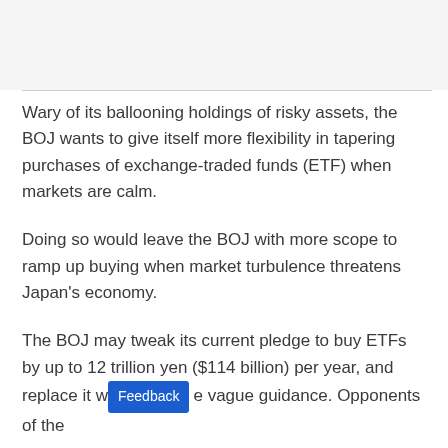Wary of its ballooning holdings of risky assets, the BOJ wants to give itself more flexibility in tapering purchases of exchange-traded funds (ETF) when markets are calm.
Doing so would leave the BOJ with more scope to ramp up buying when market turbulence threatens Japan's economy.
The BOJ may tweak its current pledge to buy ETFs by up to 12 trillion yen ($114 billion) per year, and replace it with more vague guidance. Opponents of the